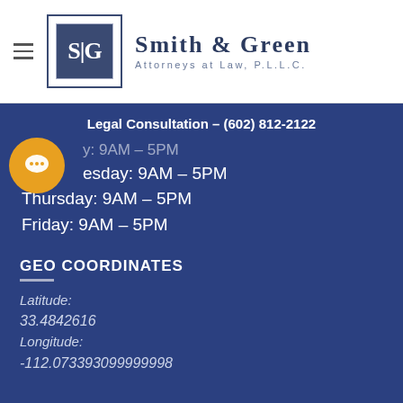[Figure (logo): Smith & Green Attorneys at Law, P.L.L.C. logo with hamburger menu icon]
Legal Consultation – (602) 812-2122
Wednesday: 9AM – 5PM (partially obscured)
Wednesday: 9AM – 5PM
Thursday: 9AM – 5PM
Friday: 9AM – 5PM
GEO COORDINATES
Latitude:
33.4842616
Longitude:
-112.073393099999998